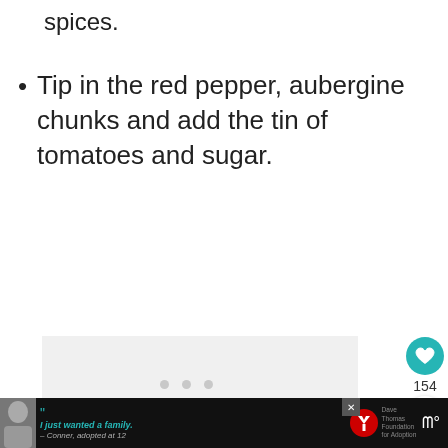spices.
Tip in the red pepper, aubergine chunks and add the tin of tomatoes and sugar.
[Figure (screenshot): Gray content/ad placeholder box with three loading dots, a teal heart button with count 154, a share button, and a 'What's Next' card showing 'Easy Vegan Pasta Recip...']
[Figure (screenshot): Bottom advertisement banner with a young man photo, quote 'I just wanted a family. — Conner, adopted at 12', Dave Thomas Foundation for Adoption logo, and a wave icon.]